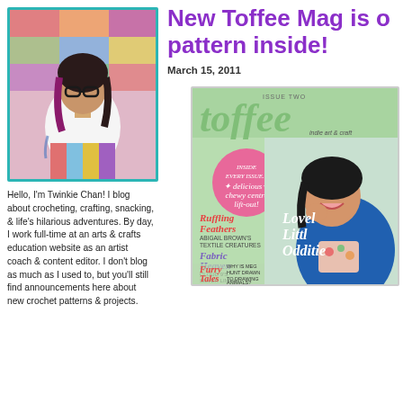[Figure (photo): Profile photo of Twinkie Chan standing in front of colorful yarn display, wearing white top and colorful skirt, with pink-dyed hair and glasses]
New Toffee Mag is out — pattern inside!
March 15, 2011
Hello, I'm Twinkie Chan! I blog about crocheting, crafting, snacking, & life's hilarious adventures. By day, I work full-time at an arts & crafts education website as an artist coach & content editor. I don't blog as much as I used to, but you'll still find announcements here about new crochet patterns & projects.
[Figure (photo): Cover of Toffee magazine Issue Two showing a woman laughing, with text 'Lovely Little Oddities', 'Ruffling Feathers', 'Fabric Heaven', 'Furry Tales', and decorative toffee magazine logo]